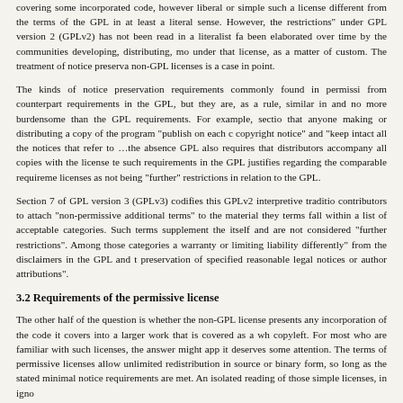covering some incorporated code, however liberal or simple such a license different from the terms of the GPL in at least a literal sense. However, the restrictions" under GPL version 2 (GPLv2) has not been read in a literalist fa been elaborated over time by the communities developing, distributing, mo under that license, as a matter of custom. The treatment of notice preserva non-GPL licenses is a case in point.
The kinds of notice preservation requirements commonly found in permissi from counterpart requirements in the GPL, but they are, as a rule, similar in and no more burdensome than the GPL requirements. For example, sectio that anyone making or distributing a copy of the program "publish on each c copyright notice" and "keep intact all the notices that refer to …the absence GPL also requires that distributors accompany all copies with the license te such requirements in the GPL justifies regarding the comparable requireme licenses as not being "further" restrictions in relation to the GPL.
Section 7 of GPL version 3 (GPLv3) codifies this GPLv2 interpretive traditio contributors to attach "non-permissive additional terms" to the material they terms fall within a list of acceptable categories. Such terms supplement the itself and are not considered "further restrictions". Among those categories a warranty or limiting liability differently" from the disclaimers in the GPL and t preservation of specified reasonable legal notices or author attributions".
3.2 Requirements of the permissive license
The other half of the question is whether the non-GPL license presents any incorporation of the code it covers into a larger work that is covered as a wh copyleft. For most who are familiar with such licenses, the answer might app it deserves some attention. The terms of permissive licenses allow unlimited redistribution in source or binary form, so long as the stated minimal notice requirements are met. An isolated reading of those simple licenses, in igno